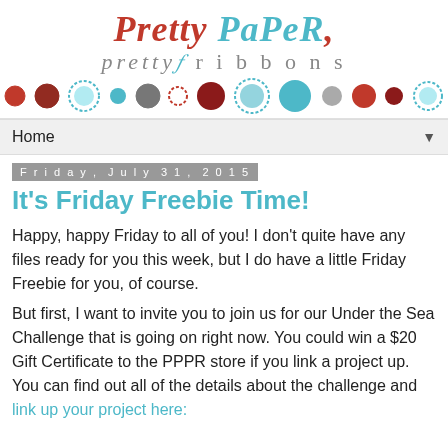[Figure (logo): Pretty Paper, Pretty Ribbons blog logo with colorful decorative dots below]
Home
Friday, July 31, 2015
It's Friday Freebie Time!
Happy, happy Friday to all of you! I don't quite have any files ready for you this week, but I do have a little Friday Freebie for you, of course.
But first, I want to invite you to join us for our Under the Sea Challenge that is going on right now. You could win a $20 Gift Certificate to the PPPR store if you link a project up. You can find out all of the details about the challenge and link up your project here: